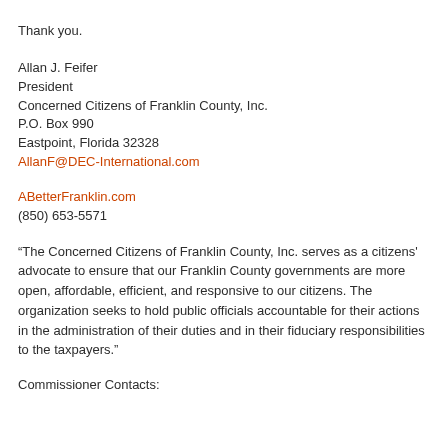Thank you.
Allan J. Feifer
President
Concerned Citizens of Franklin County, Inc.
P.O. Box 990
Eastpoint, Florida 32328
AllanF@DEC-International.com
ABetterFranklin.com
(850) 653-5571
“The Concerned Citizens of Franklin County, Inc. serves as a citizens' advocate to ensure that our Franklin County governments are more open, affordable, efficient, and responsive to our citizens. The organization seeks to hold public officials accountable for their actions in the administration of their duties and in their fiduciary responsibilities to the taxpayers.”
Commissioner Contacts: